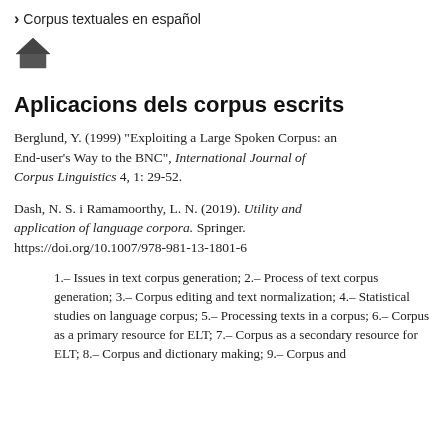❯ Corpus textuales en español
[Figure (illustration): Home icon (house symbol)]
Aplicacions dels corpus escrits
Berglund, Y. (1999) "Exploiting a Large Spoken Corpus: an End-user's Way to the BNC", International Journal of Corpus Linguistics 4, 1: 29-52.
Dash, N. S. i Ramamoorthy, L. N. (2019). Utility and application of language corpora. Springer. https://doi.org/10.1007/978-981-13-1801-6
1.– Issues in text corpus generation; 2.– Process of text corpus generation; 3.– Corpus editing and text normalization; 4.– Statistical studies on language corpus; 5.– Processing texts in a corpus; 6.– Corpus as a primary resource for ELT; 7.– Corpus as a secondary resource for ELT; 8.– Corpus and dictionary making; 9.– Corpus and